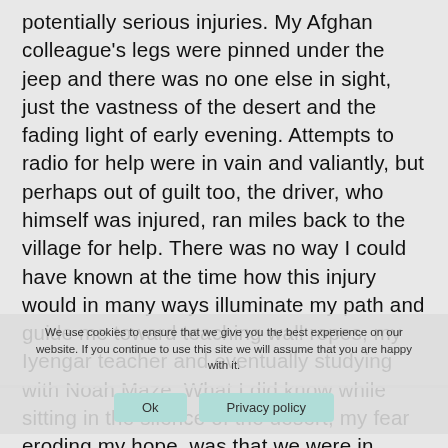potentially serious injuries. My Afghan colleague's legs were pinned under the jeep and there was no one else in sight, just the vastness of the desert and the fading light of early evening. Attempts to radio for help were in vain and valiantly, but perhaps out of guilt too, the driver, who himself was injured, ran miles back to the village for help. There was no way I could have known at the time how this injury would in many ways illuminate my path and guide me toward teaching wall ropes, my Iyengar teacher and eventually studying with Noah Maze. What I did know while sitting in the silence of the desert, my fear eroding my hope, was that we were in Taliban territory and it was now dark; curfew had begun.
We use cookies to ensure that we give you the best experience on our website. If you continue to use this site we will assume that you are happy with it.
Ok    Privacy policy